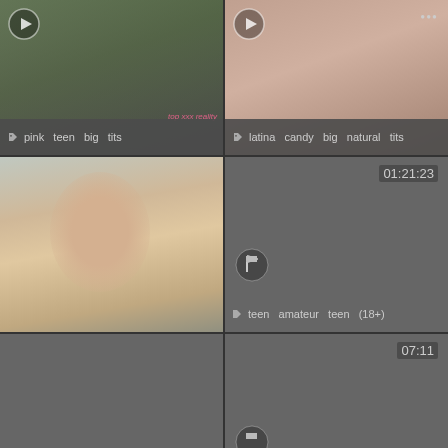[Figure (screenshot): Video thumbnail grid cell top-left: outdoor scene with people walking, pink watermark text 'top xxx reality'. Tags: pink, teen, big tits]
[Figure (screenshot): Video thumbnail grid cell top-right: close-up content. Tags: latina, candy, big natural tits]
[Figure (screenshot): Video thumbnail grid cell middle-left: woman with blonde hair looking up. Tags visible]
[Figure (screenshot): Video thumbnail grid cell middle-right: gray placeholder, duration 01:21:23. Tags: teen amateur, teen (18+)]
[Figure (screenshot): Video thumbnail grid cell lower-left: gray placeholder]
[Figure (screenshot): Video thumbnail grid cell lower-right: gray placeholder, duration 07:11. Tags: big ass, ass, bbw]
[Figure (screenshot): Video thumbnail grid cell bottom-left: gray placeholder, duration 35:37]
[Figure (screenshot): Video thumbnail grid cell bottom-right: gray placeholder]